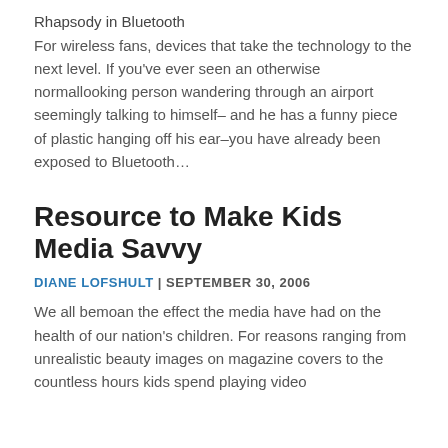Rhapsody in Bluetooth
For wireless fans, devices that take the technology to the next level. If you've ever seen an otherwise normallooking person wandering through an airport seemingly talking to himself– and he has a funny piece of plastic hanging off his ear–you have already been exposed to Bluetooth…
Resource to Make Kids Media Savvy
DIANE LOFSHULT | SEPTEMBER 30, 2006
We all bemoan the effect the media have had on the health of our nation's children. For reasons ranging from unrealistic beauty images on magazine covers to the countless hours kids spend playing video